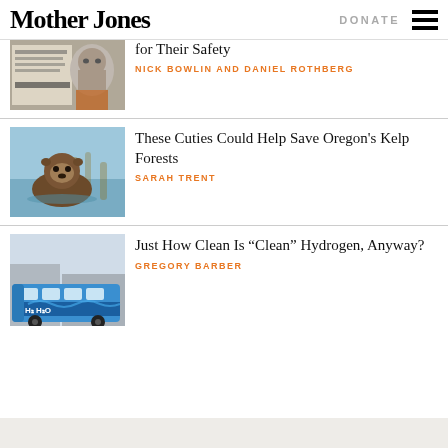Mother Jones | DONATE
[Figure (photo): Partial article thumbnail showing a man's face over documents]
for Their Safety
NICK BOWLIN AND DANIEL ROTHBERG
[Figure (photo): Sea otter floating on its back in water near kelp]
These Cuties Could Help Save Oregon’s Kelp Forests
SARAH TRENT
[Figure (photo): Blue hydrogen fuel cell bus labeled H2 H2O parked outside a building]
Just How Clean Is “Clean” Hydrogen, Anyway?
GREGORY BARBER